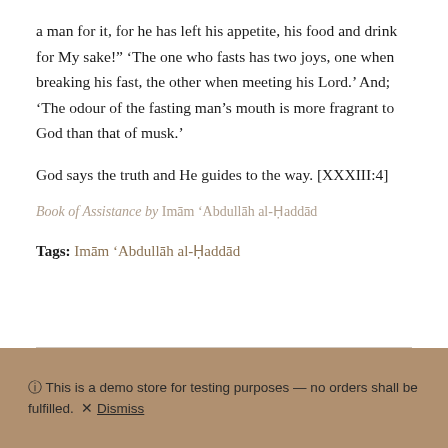a man for it, for he has left his appetite, his food and drink for My sake!" 'The one who fasts has two joys, one when breaking his fast, the other when meeting his Lord.' And; 'The odour of the fasting man's mouth is more fragrant to God than that of musk.'
God says the truth and He guides to the way. [XXXIII:4]
Book of Assistance by Imām 'Abdullāh al-Ḥaddād
Tags: Imām 'Abdullāh al-Ḥaddād
ⓘ This is a demo store for testing purposes — no orders shall be fulfilled. × Dismiss